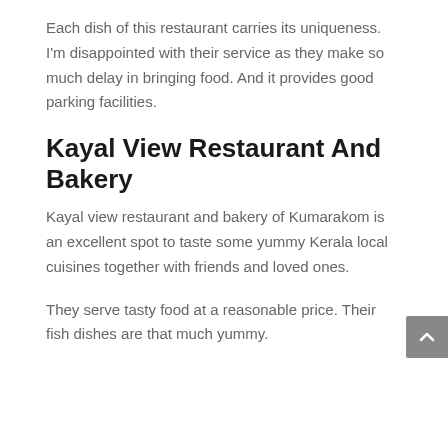Each dish of this restaurant carries its uniqueness. I'm disappointed with their service as they make so much delay in bringing food. And it provides good parking facilities.
Kayal View Restaurant And Bakery
Kayal view restaurant and bakery of Kumarakom is an excellent spot to taste some yummy Kerala local cuisines together with friends and loved ones.
They serve tasty food at a reasonable price. Their fish dishes are that much yummy.